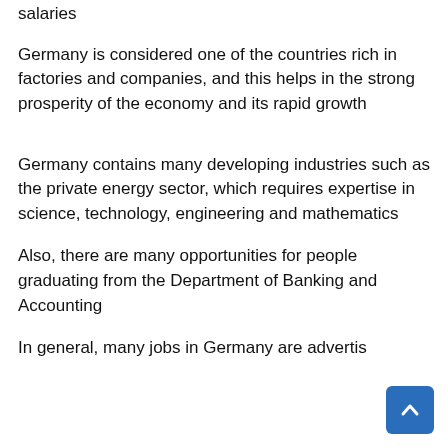salaries
Germany is considered one of the countries rich in factories and companies, and this helps in the strong prosperity of the economy and its rapid growth
Germany contains many developing industries such as the private energy sector, which requires expertise in science, technology, engineering and mathematics
Also, there are many opportunities for people graduating from the Department of Banking and Accounting
In general, many jobs in Germany are advertised